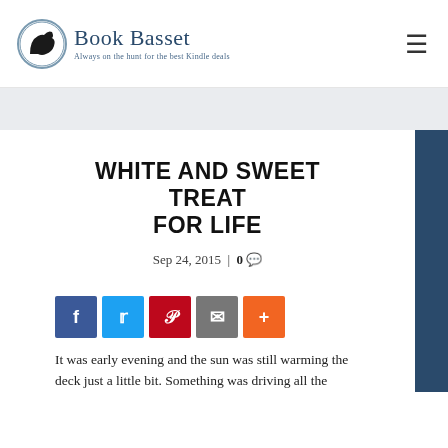Book Basset — Always on the hunt for the best Kindle deals
WHITE AND SWEET TREAT FOR LIFE
Sep 24, 2015 | 0
[Figure (other): Social share buttons: Facebook, Twitter, Pinterest, Email, More]
It was early evening and the sun was still warming the deck just a little bit. Something was driving all the